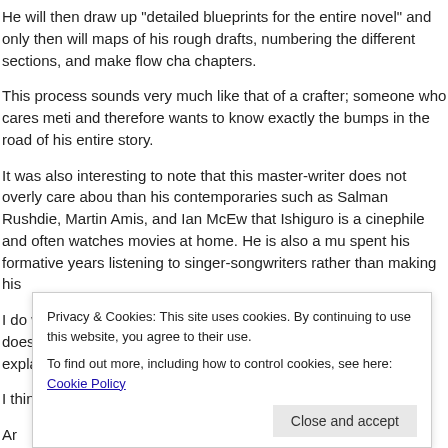He will then draw up “detailed blueprints for the entire novel” and only then will maps of his rough drafts, numbering the different sections, and make flow cha chapters.
This process sounds very much like that of a crafter; someone who cares meti and therefore wants to know exactly the bumps in the road of his entire story.
It was also interesting to note that this master-writer does not overly care abou than his contemporaries such as Salman Rushdie, Martin Amis, and Ian McEw that Ishiguro is a cinephile and often watches movies at home. He is also a mu spent his formative years listening to singer-songwriters rather than making his
I do wonder whether this slight coldness to writing; the fact that it does not pos possesses someone like Martin Amis actually explains his greater greatness. I advantage.
I think there might be something in that.
Ar this us lab ma s Is er p wi the ke
Privacy & Cookies: This site uses cookies. By continuing to use this website, you agree to their use.
To find out more, including how to control cookies, see here: Cookie Policy
Close and accept